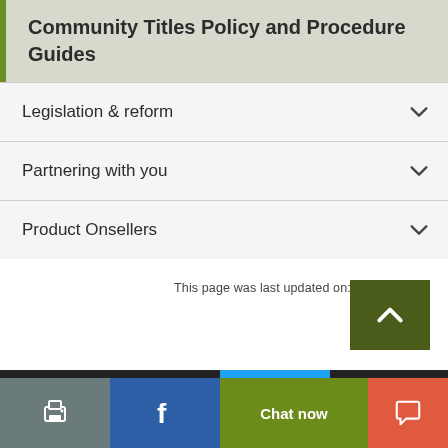Community Titles Policy and Procedure Guides
Legislation & reform
Partnering with you
Product Onsellers
This page was last updated on: 15 Mar 2022
Print | Facebook | Chat now